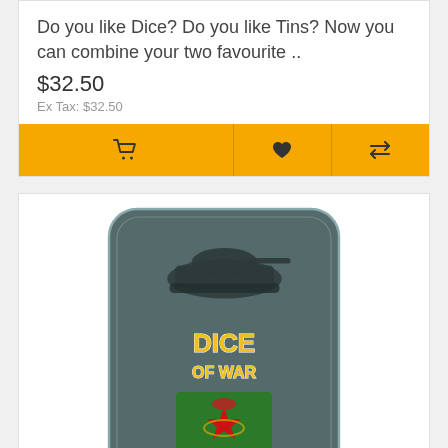Do you like Dice? Do you like Tins? Now you can combine your two favourite ..
$32.50
Ex Tax: $32.50
[Figure (screenshot): Yellow action button bar with cart, wishlist, and compare icons]
[Figure (illustration): Product image: Dice of War Ammo Box tin with Soviet Guards emblem on dark teal rounded rectangle background]
Soviet Guards – Dice & Tin Set
Do you like Dice? Do you like Tins? Now you